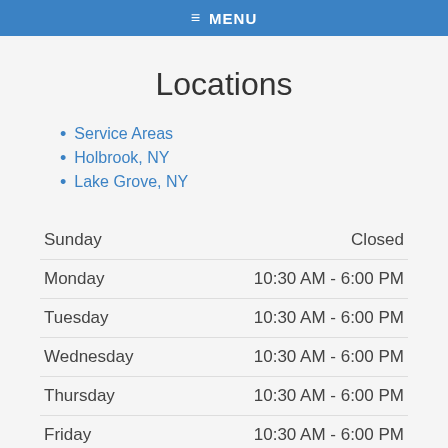≡ MENU
Locations
Service Areas
Holbrook, NY
Lake Grove, NY
| Day | Hours |
| --- | --- |
| Sunday | Closed |
| Monday | 10:30 AM - 6:00 PM |
| Tuesday | 10:30 AM - 6:00 PM |
| Wednesday | 10:30 AM - 6:00 PM |
| Thursday | 10:30 AM - 6:00 PM |
| Friday | 10:30 AM - 6:00 PM |
| Saturday | 10:30 AM - 6:00 PM |